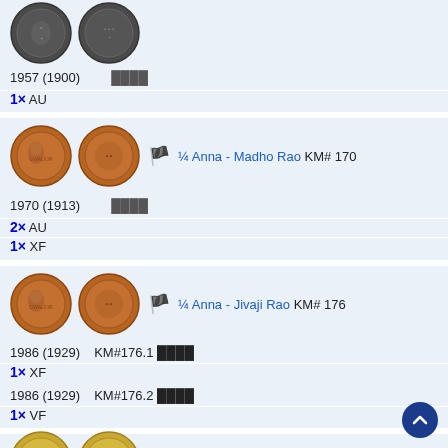[Figure (photo): Two coins shown from obverse and reverse, dark/bronze colored - partial view at top]
1957 (1900)   ████
1× AU
[Figure (photo): ¼ Anna - Madho Rao KM# 170 - two copper coins obverse and reverse]
¼ Anna - Madho Rao KM# 170
1970 (1913)   ████
2× AU
1× XF
[Figure (photo): ¼ Anna - Jivaji Rao KM# 176 - two copper coins obverse and reverse]
¼ Anna - Jivaji Rao KM# 176
1986 (1929)   KM#176.1 ████
1× XF
1986 (1929)   KM#176.2 ████
1× VF
[Figure (photo): ½ Anna - Jivaji Rao KM# 179 - two gold/copper coins partially visible]
½ Anna - Jivaji Rao KM# 179